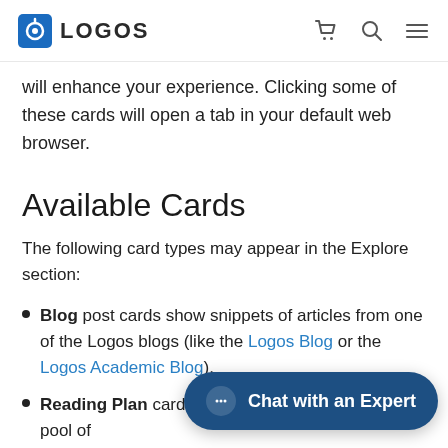LOGOS
will enhance your experience. Clicking some of these cards will open a tab in your default web browser.
Available Cards
The following card types may appear in the Explore section:
Blog post cards show snippets of articles from one of the Logos blogs (like the Logos Blog or the Logos Academic Blog).
Reading Plan cards... Bible reading plans from a pool of